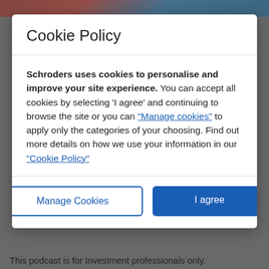Cookie Policy
Schroders uses cookies to personalise and improve your site experience. You can accept all cookies by selecting 'I agree' and continuing to browse the site or you can "Manage cookies" to apply only the categories of your choosing. Find out more details on how we use your information in our "Cookie Policy"
Manage Cookies
I agree
This podcast is for Investment professionals only.